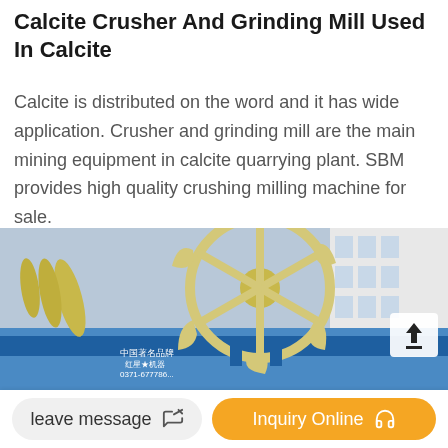Calcite Crusher And Grinding Mill Used In Calcite
Calcite is distributed on the word and it has wide application. Crusher and grinding mill are the main mining equipment in calcite quarrying plant. SBM provides high quality crushing milling machine for sale.
[Figure (photo): Large industrial wheel/bucket sand washing machine with cream-colored rotating wheel structure and blue base frame, with Chinese text branding on the side panel (0371-677786...). Building visible in background.]